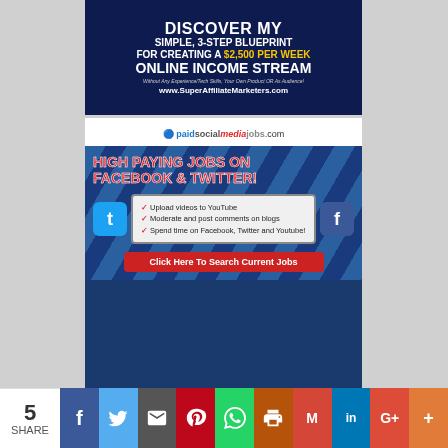[Figure (infographic): Ad banner: DISCOVER MY SIMPLE, 3-STEP BLUEPRINT FOR CREATING A $2,500 PER WEEK ONLINE INCOME STREAM. www.SuperAffiliateMarketers.com]
[Figure (infographic): Ad banner: paidsocialmediajobs.com HIGH PAYING JOBS ON FACEBOOK & TWITTER! with laptop showing checkmarks and Click Here To Search Current Jobs button]
[Figure (infographic): Partial ad banner with money/cash imagery]
[Figure (infographic): Social share bar: 5 SHARE, Facebook, Twitter, Email, Pinterest, WhatsApp, Print, Gmail, LinkedIn, Google+, More]